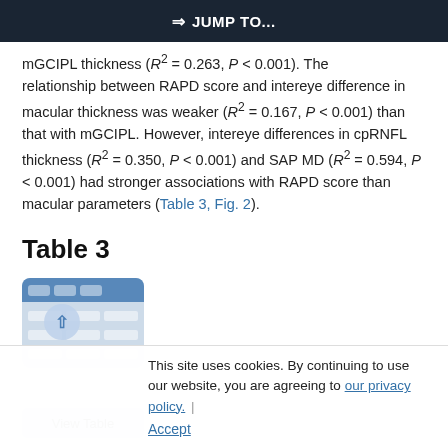⇒ JUMP TO...
mGCIPL thickness (R² = 0.263, P < 0.001). The relationship between RAPD score and intereye difference in macular thickness was weaker (R² = 0.167, P < 0.001) than that with mGCIPL. However, intereye differences in cpRNFL thickness (R² = 0.350, P < 0.001) and SAP MD (R² = 0.594, P < 0.001) had stronger associations with RAPD score than macular parameters (Table 3, Fig. 2).
Table 3
This site uses cookies. By continuing to use our website, you are agreeing to our privacy policy. Accept